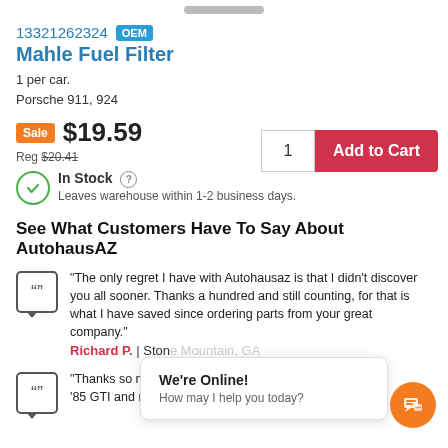13321262324 OEM
Mahle Fuel Filter
1 per car.
Porsche 911, 924
Sale $19.59
Reg $20.41
In Stock ? Leaves warehouse within 1-2 business days.
See What Customers Have To Say About AutohausAZ
"The only regret I have with Autohausaz is that I didn't discover you all sooner. Thanks a hundred and still counting, for that is what I have saved since ordering parts from your great company."
Richard P. | Stone Mountain, GA
"Thanks so much... definitely found... I dr... '85 GTI and my wife a '96 Jetta. Thanks again."
We're Online!
How may I help you today?